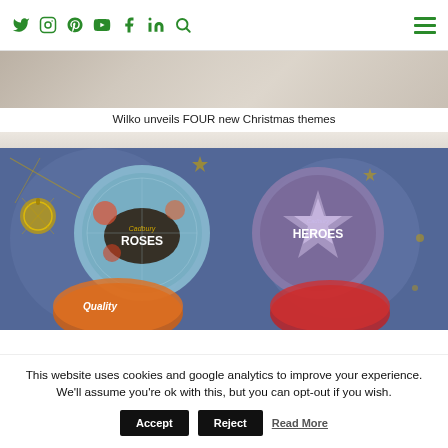Social media icons: Twitter, Instagram, Pinterest, YouTube, Facebook, LinkedIn, Search, Hamburger menu
[Figure (photo): Partially visible top image strip showing Christmas-themed decor, beige and warm tones]
Wilko unveils FOUR new Christmas themes
[Figure (photo): Cadbury chocolate tins on a dark blue Christmas background with gold ornaments: Cadbury Roses tin (blue, circular), Cadbury Heroes tin (purple, star shape), Cadbury Quality Street tin (orange), and another red tin partially visible. Gold star and ornament decorations around the tins.]
This website uses cookies and google analytics to improve your experience. We'll assume you're ok with this, but you can opt-out if you wish.
Accept   Reject   Read More